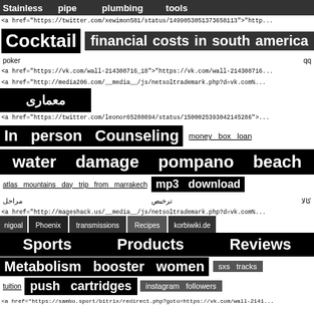Stainless   pipe   plumbing   tools
<a href="https://twitter.com/xewimon581/status/1499053051373658113">"http...
Cocktail   financial costs in south america
poker   qq
<a href="https://vk.com/wall-214308716_18">"https://vk.com/wall-214308716...
<a href="http://media206.com/__media__/js/netsoltrademark.php?d=vk.com%...
معماری
<a href="https://twitter.com/leonor65280894/status/1500025393042145286">...
In person Counseling   money box loan
water damage pompano beach
atlas mountains day trip from marrakech   mp3 download
مراحل   ترخیص   کالا
<a href="http://mageshack.us/__media__/js/netsoltrademark.php?d=vk.com%...
nigoal   Phoenix   transmissions   Recipes   korbiwiki.de
Sports   Products   Reviews
Metabolism booster women   sxs tracks
tuition   push cartridges   instagram followers
<a href="https://sambo.sport/bitrix/redirect.php?goto=https://vk.com/wall-2141...
gabloty   wiszące
حبیبه مجدآبادی معمار   cctv drain survey teignmouth
sport   betting   mecanica   de   Suelos   Calama